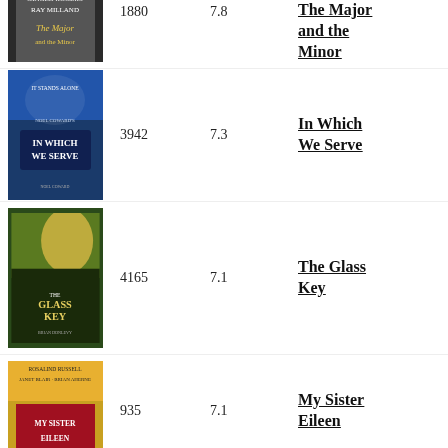| Poster | Votes | Rating | Title |
| --- | --- | --- | --- |
| [image] | 1880 | 7.8 | The Major and the Minor |
| [image] | 3942 | 7.3 | In Which We Serve |
| [image] | 4165 | 7.1 | The Glass Key |
| [image] | 935 | 7.1 | My Sister Eileen |
| [image] |  |  |  |